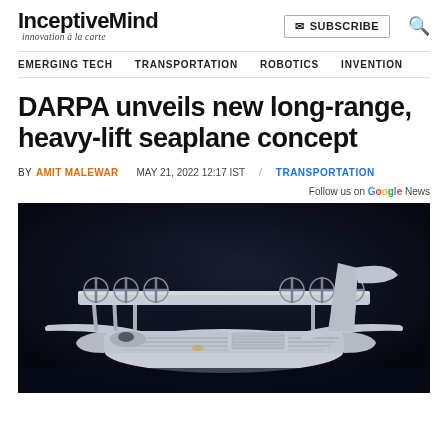InceptiveMind — innovation à la carte
DARPA unveils new long-range, heavy-lift seaplane concept
BY AMIT MALEWAR   MAY 21, 2022 12:17 IST   /   TRANSPORTATION
Follow us on Google News
[Figure (photo): 3D render of a large seaplane concept with multiple propellers mounted above the fuselage and wings, shown against a dark background]